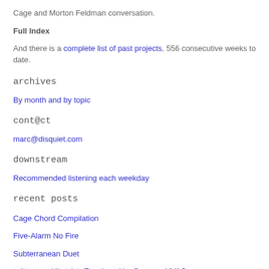Cage and Morton Feldman conversation.
Full Index
And there is a complete list of past projects, 556 consecutive weeks to date.
archives
By month and by topic
cont@ct
marc@disquiet.com
downstream
Recommended listening each weekday
recent posts
Cage Chord Compilation
Five-Alarm No Fire
Subterranean Duet
twitter.com/disquiet: Enveloped by Summer HVAC
Complex Cumulus